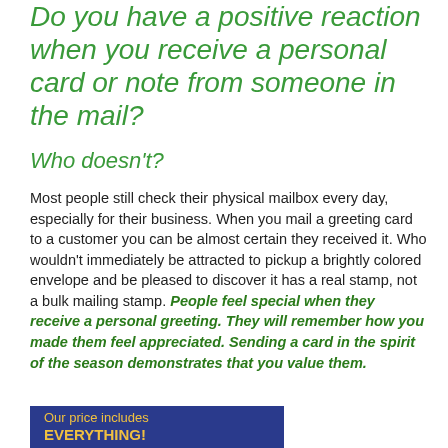Do you have a positive reaction when you receive a personal card or note from someone in the mail?
Who doesn't?
Most people still check their physical mailbox every day, especially for their business. When you mail a greeting card to a customer you can be almost certain they received it. Who wouldn't immediately be attracted to pickup a brightly colored envelope and be pleased to discover it has a real stamp, not a bulk mailing stamp. People feel special when they receive a personal greeting. They will remember how you made them feel appreciated. Sending a card in the spirit of the season demonstrates that you value them.
Our price includes EVERYTHING!